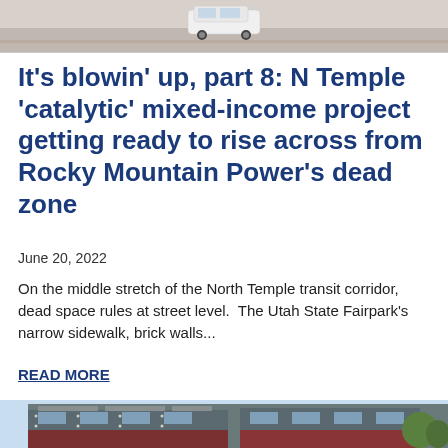[Figure (photo): Top partial image showing a road/parking area with a vehicle visible, cropped at top of page]
It's blowin' up, part 8: N Temple 'catalytic' mixed-income project getting ready to rise across from Rocky Mountain Power's dead zone
June 20, 2022
On the middle stretch of the North Temple transit corridor, dead space rules at street level.  The Utah State Fairpark's narrow sidewalk, brick walls...
READ MORE
[Figure (photo): Bottom partial image showing a building rendering/architectural illustration of a mixed-income development project, multi-story with brick and siding facade]